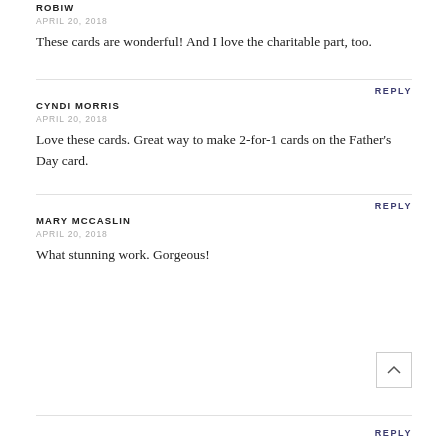ROBIW
APRIL 20, 2018
These cards are wonderful! And I love the charitable part, too.
REPLY
CYNDI MORRIS
APRIL 20, 2018
Love these cards. Great way to make 2-for-1 cards on the Father's Day card.
REPLY
MARY MCCASLIN
APRIL 20, 2018
What stunning work. Gorgeous!
REPLY